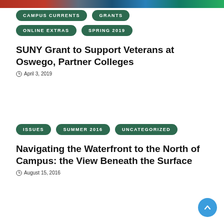[Figure (photo): Top banner photo strip showing campus or people]
CAMPUS CURRENTS  GRANTS
ONLINE EXTRAS  SPRING 2019
SUNY Grant to Support Veterans at Oswego, Partner Colleges
April 3, 2019
ISSUES  SUMMER 2016  UNCATEGORIZED
Navigating the Waterfront to the North of Campus: the View Beneath the Surface
August 15, 2016